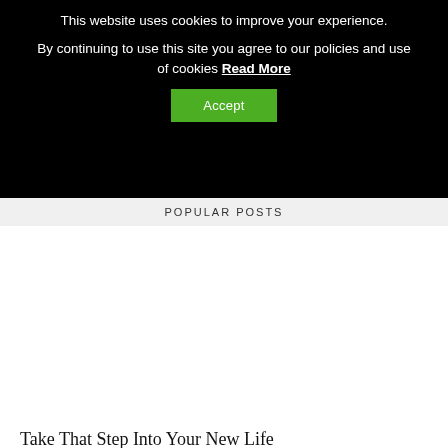This website uses cookies to improve your experience.
By continuing to use this site you agree to our policies and use of cookies Read More
Accept
POPULAR POSTS
PREVIOUS ARTICLE
NEXT ARTICLE
Take That Step Into Your New Life
13 Pinable Rumi Quotes
5 Self-Care Tips for When You Are Feeling Depressed